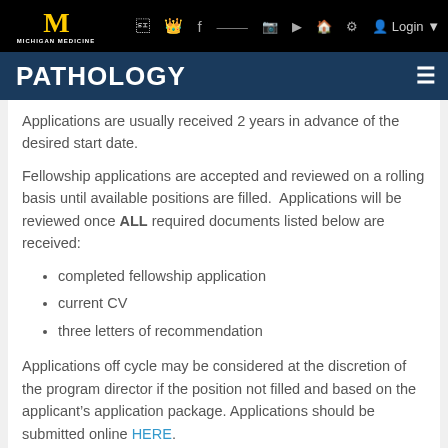Michigan Medicine | PATHOLOGY
Applications are usually received 2 years in advance of the desired start date.
Fellowship applications are accepted and reviewed on a rolling basis until available positions are filled. Applications will be reviewed once ALL required documents listed below are received:
completed fellowship application
current CV
three letters of recommendation
Applications off cycle may be considered at the discretion of the program director if the position not filled and based on the applicant's application package. Applications should be submitted online HERE.